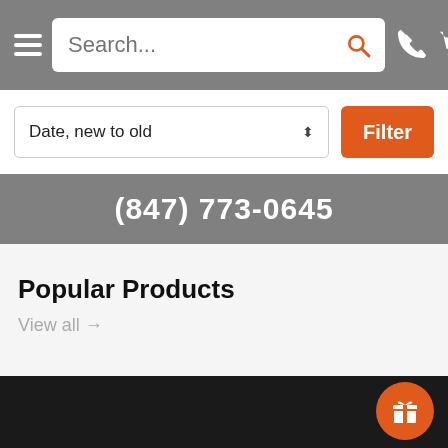Search... navigation header with hamburger menu, search box, phone icon and cart (0)
Date, new to old
Filter
(847) 773-0645
Popular Products
View all →